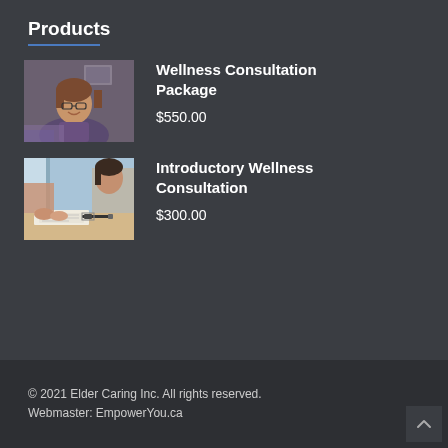Products
[Figure (photo): Woman with glasses smiling, sitting at a table in a room with framed pictures on wall]
Wellness Consultation Package
$550.00
[Figure (photo): Two people sitting at a table with papers and a pen, appearing to be in a consultation session]
Introductory Wellness Consultation
$300.00
© 2021 Elder Caring Inc. All rights reserved.
Webmaster: EmpowerYou.ca